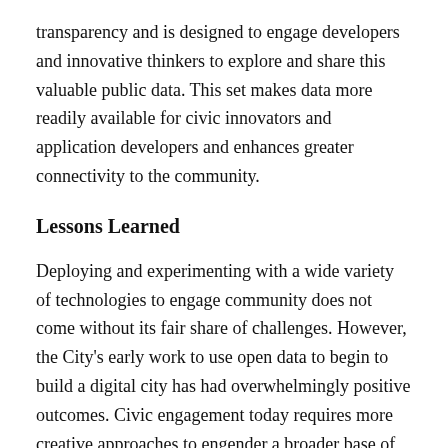transparency and is designed to engage developers and innovative thinkers to explore and share this valuable public data. This set makes data more readily available for civic innovators and application developers and enhances greater connectivity to the community.
Lessons Learned
Deploying and experimenting with a wide variety of technologies to engage community does not come without its fair share of challenges. However, the City's early work to use open data to begin to build a digital city has had overwhelmingly positive outcomes. Civic engagement today requires more creative approaches to engender a broader base of constituents. Cities must